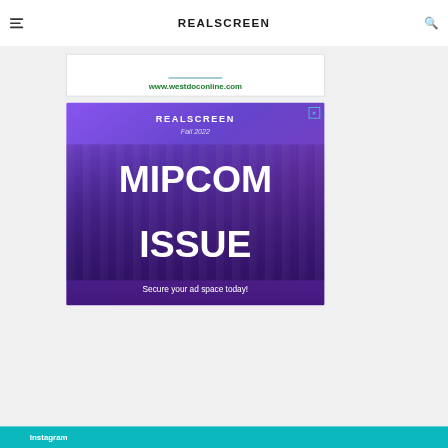REALSCREEN
[Figure (other): Advertisement banner for www.westdoconline.com with teal underline]
[Figure (other): REALSCREEN Fall 2022 MIPCOM ISSUE advertisement with purple gradient background and crowd photo overlay. Text: REALSCREEN, Fall 2022, MIPCOM ISSUE, Secure your ad space today!]
Instagram